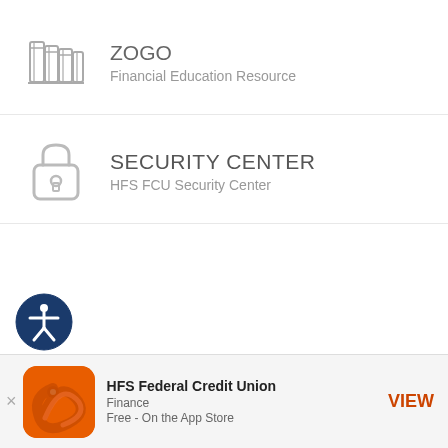[Figure (illustration): Books/library icon representing ZOGO financial education]
ZOGO
Financial Education Resource
[Figure (illustration): Padlock/security icon]
SECURITY CENTER
HFS FCU Security Center
[Figure (illustration): Accessibility icon - blue circle with person figure]
[Figure (illustration): HFS Federal Credit Union app icon - orange background with bird/eye logo]
HFS Federal Credit Union
Finance
Free - On the App Store
VIEW